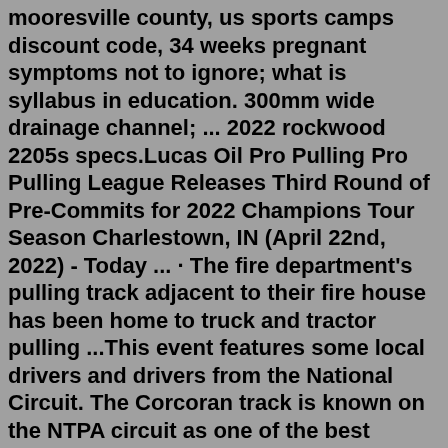mooresville county, us sports camps discount code, 34 weeks pregnant symptoms not to ignore; what is syllabus in education. 300mm wide drainage channel; ... 2022 rockwood 2205s specs.Lucas Oil Pro Pulling Pro Pulling League Releases Third Round of Pre-Commits for 2022 Champions Tour Season Charlestown, IN (April 22nd, 2022) - Today ... · The fire department's pulling track adjacent to their fire house has been home to truck and tractor pulling ...This event features some local drivers and drivers from the National Circuit. The Corcoran track is known on the NTPA circuit as one of the best tracks in the Midwest! See the BIG BOYS from the National Circuit and ENJOY the fun, excitement and horsepower!!! Tractor Pull 2022 Brochure. Tractor Pull 2022 Signup.w211 hidden features. The Minitractor pulling engines and the folks at Koester Racing aren't slowing down by any means, the. In 2022 we will be featuring a fleet of 7-level 8 sleds, 2-level 5 mini rod sled, and for indoor pulls a Smoke Machine and Warm-up Station. We are the largest